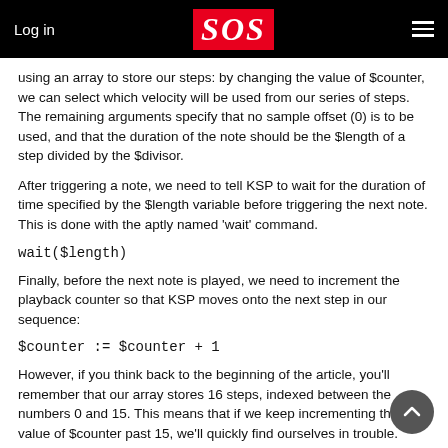Log in | SOS | ☰
using an array to store our steps: by changing the value of $counter, we can select which velocity will be used from our series of steps. The remaining arguments specify that no sample offset (0) is to be used, and that the duration of the note should be the $length of a step divided by the $divisor.
After triggering a note, we need to tell KSP to wait for the duration of time specified by the $length variable before triggering the next note. This is done with the aptly named 'wait' command.
wait($length)
Finally, before the next note is played, we need to increment the playback counter so that KSP moves onto the next step in our sequence:
$counter := $counter + 1
However, if you think back to the beginning of the article, you'll remember that our array stores 16 steps, indexed between the numbers 0 and 15. This means that if we keep incrementing the value of $counter past 15, we'll quickly find ourselves in trouble.